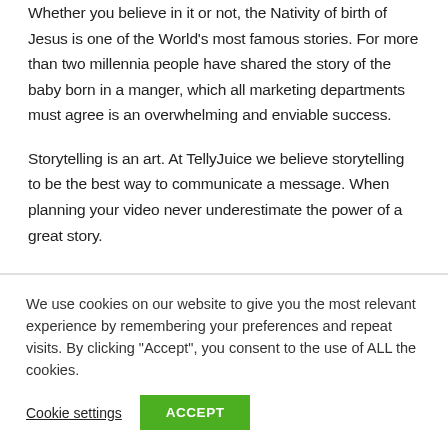Whether you believe in it or not, the Nativity of birth of Jesus is one of the World's most famous stories. For more than two millennia people have shared the story of the baby born in a manger, which all marketing departments must agree is an overwhelming and enviable success.
Storytelling is an art. At TellyJuice we believe storytelling to be the best way to communicate a message. When planning your video never underestimate the power of a great story.
We use cookies on our website to give you the most relevant experience by remembering your preferences and repeat visits. By clicking "Accept", you consent to the use of ALL the cookies.
Cookie settings | ACCEPT